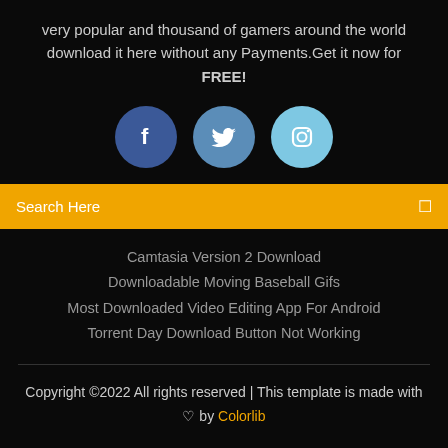very popular and thousand of gamers around the world download it here without any Payments.Get it now for FREE!
[Figure (illustration): Three social media icon circles: Facebook (dark blue), Twitter (medium blue), Instagram (light blue)]
Search Here
Camtasia Version 2 Download
Downloadable Moving Baseball Gifs
Most Downloaded Video Editing App For Android
Torrent Day Download Button Not Working
Copyright ©2022 All rights reserved | This template is made with ♡ by Colorlib